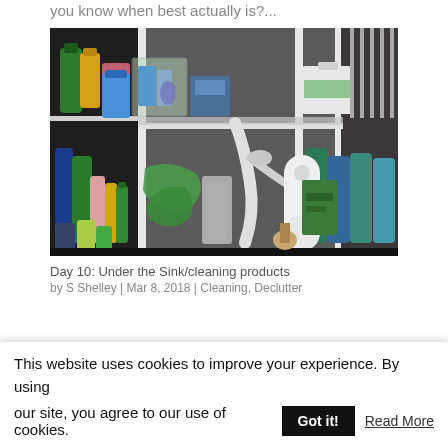you know when best actually is?...
[Figure (photo): A cluttered under-the-sink cabinet with cleaning products, bottles, a shelf organizer, plumbing pipes, green gloves, spray bottles, and various household cleaning supplies arranged on two shelves.]
Day 10: Under the Sink/cleaning products
by S Shelley | Mar 8, 2018 | Cleaning, Declutter
This website uses cookies to improve your experience. By using our site, you agree to our use of cookies.
Got it!
Read More